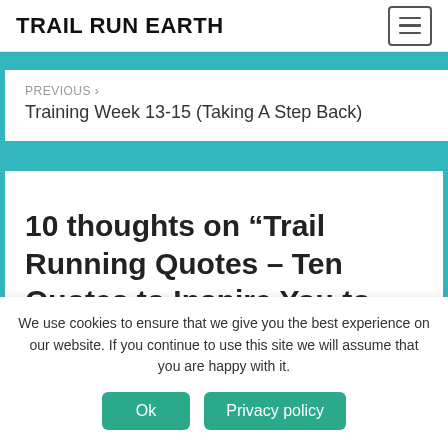TRAIL RUN EARTH
PREVIOUS > Training Week 13-15 (Taking A Step Back)
10 thoughts on “Trail Running Quotes – Ten Quotes to Inspire You to Explore”
We use cookies to ensure that we give you the best experience on our website. If you continue to use this site we will assume that you are happy with it.